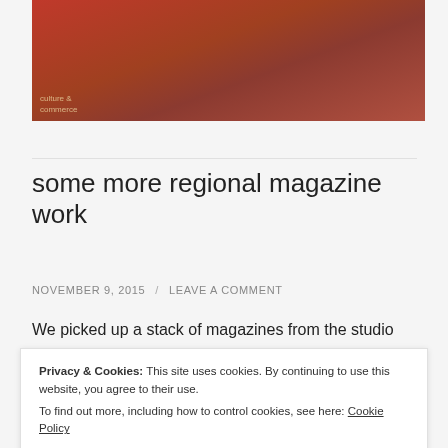[Figure (photo): Top portion of a photo showing warm reddish-orange tones, partially cropped, with small text overlay in lower left reading 'culture & commerce']
some more regional magazine work
NOVEMBER 9, 2015 / LEAVE A COMMENT
We picked up a stack of magazines from the studio
Privacy & Cookies: This site uses cookies. By continuing to use this website, you agree to their use.
To find out more, including how to control cookies, see here: Cookie Policy
Close and accept
[Figure (photo): Bottom strip of a photo showing colorful magazines or publications]